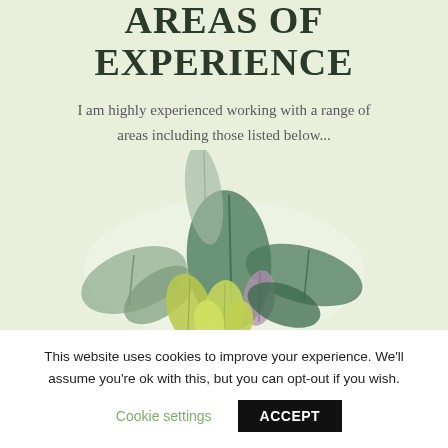AREAS OF EXPERIENCE
I am highly experienced working with a range of areas including those listed below...
[Figure (illustration): Watercolor botanical illustration of green, yellow-green, and purple leaves arranged in a bouquet or cluster at the bottom of the page]
This website uses cookies to improve your experience. We'll assume you're ok with this, but you can opt-out if you wish.
Cookie settings   ACCEPT